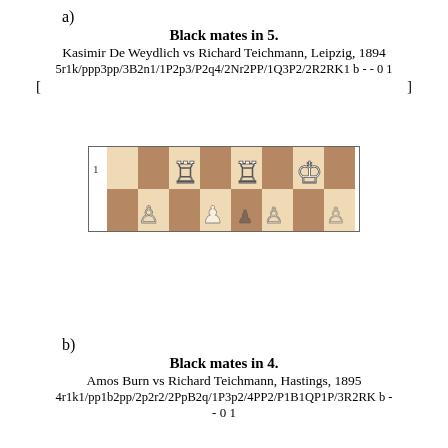a)
Black mates in 5.
Kasimir De Weydlich vs Richard Teichmann, Leipzig, 1894
5r1k/ppp3pp/3B2n1/1P2p3/P2q4/2Nr2PP/1Q3P2/2R2RK1 b - - 0 1
[                                                              ]
[Figure (other): Partial chess board showing rank 1 with white king, white rook, and another rook piece on a brown/tan checkered board]
b)
Black mates in 4.
Amos Burn vs Richard Teichmann, Hastings, 1895
4r1k1/pp1b2pp/2p2r2/2PpB2q/1P3p2/4PP2/P1B1QP1P/3R2RK b - - 0 1